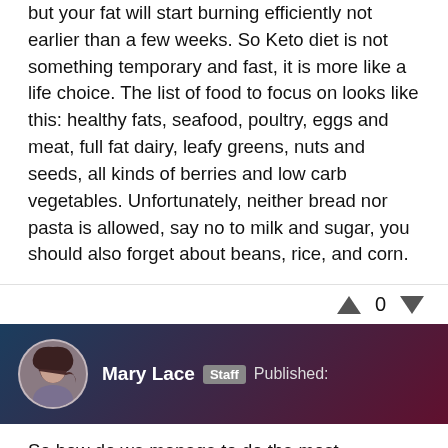but your fat will start burning efficiently not earlier than a few weeks. So Keto diet is not something temporary and fast, it is more like a life choice. The list of food to focus on looks like this: healthy fats, seafood, poultry, eggs and meat, full fat dairy, leafy greens, nuts and seeds, all kinds of berries and low carb vegetables. Unfortunately, neither bread nor pasta is allowed, say no to milk and sugar, you should also forget about beans, rice, and corn.
0
Mary Lace  Staff  Published:
So how do we manage to do the most important – restricting carbohydrates? The allowed dose is 20-30 grams per day, depending on how active you are. Try to consume not too